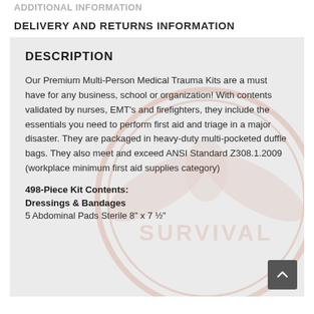ADDITIONAL INFORMATION
DELIVERY AND RETURNS INFORMATION
DESCRIPTION
Our Premium Multi-Person Medical Trauma Kits are a must have for any business, school or organization! With contents validated by nurses, EMT's and firefighters, they include the essentials you need to perform first aid and triage in a major disaster. They are packaged in heavy-duty multi-pocketed duffle bags. They also meet and exceed ANSI Standard Z308.1.2009 (workplace minimum first aid supplies category)
498-Piece Kit Contents:
Dressings & Bandages
5 Abdominal Pads Sterile 8" x 7 ½"